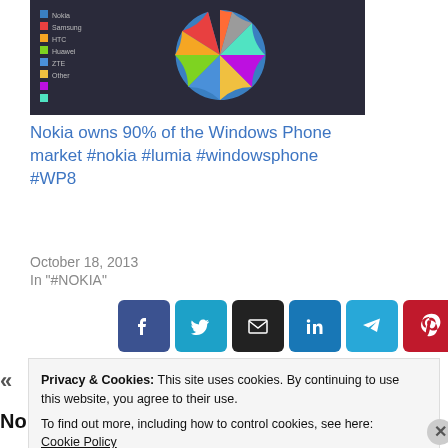[Figure (other): Thumbnail image of a pie chart showing Windows Phone market share on a dark background]
Nokia owns 90% of the Windows Phone market #nokia #lumia #windowsphone #WP8
October 18, 2013
In "#NOKIA"
[Figure (infographic): Social share buttons: Facebook, Twitter, Email, LinkedIn, Telegram, Pinterest]
Nokia calls Sunday
NokiaNewsland.comthe 20th October
Privacy & Cookies: This site uses cookies. By continuing to use this website, you agree to their use.
To find out more, including how to control cookies, see here: Cookie Policy
Close and accept